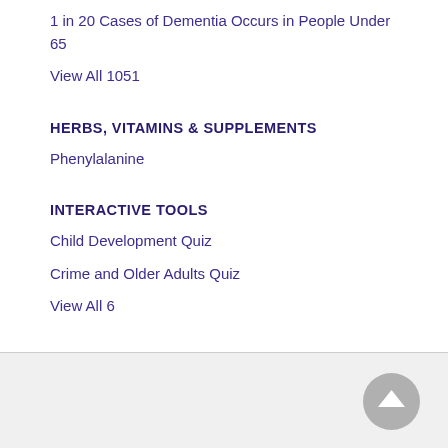1 in 20 Cases of Dementia Occurs in People Under 65
View All 1051
HERBS, VITAMINS & SUPPLEMENTS
Phenylalanine
INTERACTIVE TOOLS
Child Development Quiz
Crime and Older Adults Quiz
View All 6
VIDEOS
Obesity